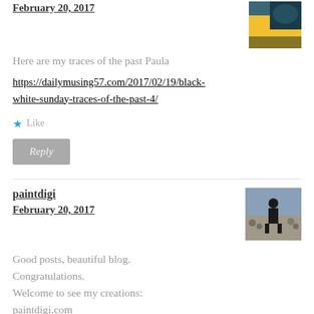February 20, 2017
[Figure (photo): Small avatar photo showing a hand near a car window]
Here are my traces of the past Paula
https://dailymusing57.com/2017/02/19/black-white-sunday-traces-of-the-past-4/
★ Like
Reply
paintdigi
February 20, 2017
[Figure (photo): Avatar photo of a person standing outdoors in a crowd]
Good posts, beautiful blog.
Congratulations.
Welcome to see my creations:
paintdigi.com
★ Like
Reply